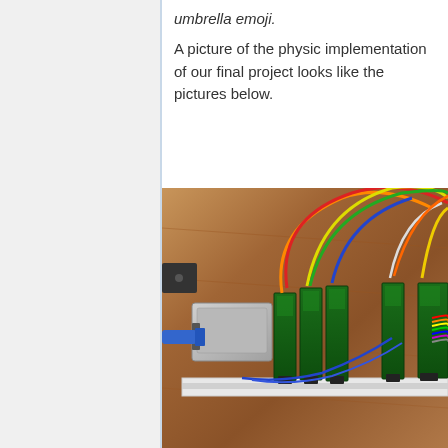umbrella emoji.
A picture of the physic implementation of our final project looks like the pictures below.
[Figure (photo): Photo of a Raspberry Pi connected via USB cable to multiple green circuit/sensor boards arranged in a row on a white rail, with many colored wires (red, orange, yellow, green, blue, white) connecting them, placed on a wooden desk surface.]